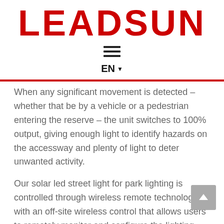[Figure (logo): LEADSUN logo in bold red uppercase letters]
[Figure (other): Hamburger menu icon with three horizontal lines]
EN ▼
When any significant movement is detected – whether that be by a vehicle or a pedestrian entering the reserve – the unit switches to 100% output, giving enough light to identify hazards on the accessway and plenty of light to deter unwanted activity.
Our solar led street light for park lighting is controlled through wireless remote technology with an off-site wireless control that allows users to remotely monitor and configure the lighting system from anywhere in the world.